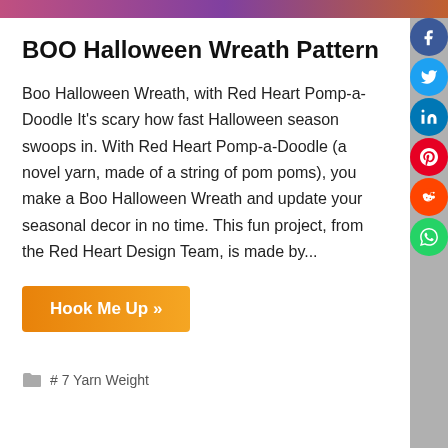BOO Halloween Wreath Pattern
Boo Halloween Wreath, with Red Heart Pomp-a-Doodle It's scary how fast Halloween season swoops in. With Red Heart Pomp-a-Doodle (a novel yarn, made of a string of pom poms), you make a Boo Halloween Wreath and update your seasonal decor in no time. This fun project, from the Red Heart Design Team, is made by...
Hook Me Up »
# 7 Yarn Weight